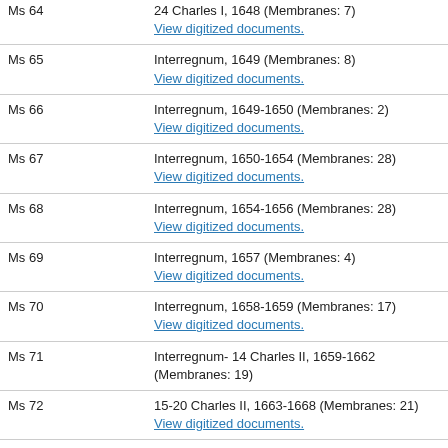| MS Number | Description |
| --- | --- |
| Ms 64 | 24 Charles I, 1648 (Membranes: 7)
View digitized documents. |
| Ms 65 | Interregnum, 1649 (Membranes: 8)
View digitized documents. |
| Ms 66 | Interregnum, 1649-1650 (Membranes: 2)
View digitized documents. |
| Ms 67 | Interregnum, 1650-1654 (Membranes: 28)
View digitized documents. |
| Ms 68 | Interregnum, 1654-1656 (Membranes: 28)
View digitized documents. |
| Ms 69 | Interregnum, 1657 (Membranes: 4)
View digitized documents. |
| Ms 70 | Interregnum, 1658-1659 (Membranes: 17)
View digitized documents. |
| Ms 71 | Interregnum- 14 Charles II, 1659-1662 (Membranes: 19) |
| Ms 72 | 15-20 Charles II, 1663-1668 (Membranes: 21)
View digitized documents. |
| Ms 73 | 20-24 Charles II, 1668-1672 (Membranes: 14) |
| Ms 74 | 24-33 Charles II (oversize), 1672-1681 (Membranes: 36) |
| Ms 75 | 34-35 Charles II, 1682-1683 (Membranes: 7) |
| Ms 76 | 36 Charles II - I James II, 1684-1685 (Membranes: 6) |
| Ms 77 | 36 Charles II - II William III (oversize), 1684-1699 |